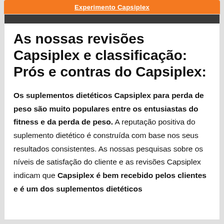Experimento Capsiplex
As nossas revisões Capsiplex e classificação: Prós e contras do Capsiplex:
Os suplementos dietéticos Capsiplex para perda de peso são muito populares entre os entusiastas do fitness e da perda de peso. A reputação positiva do suplemento dietético é construída com base nos seus resultados consistentes. As nossas pesquisas sobre os níveis de satisfação do cliente e as revisões Capsiplex indicam que Capsiplex é bem recebido pelos clientes e é um dos suplementos dietéticos